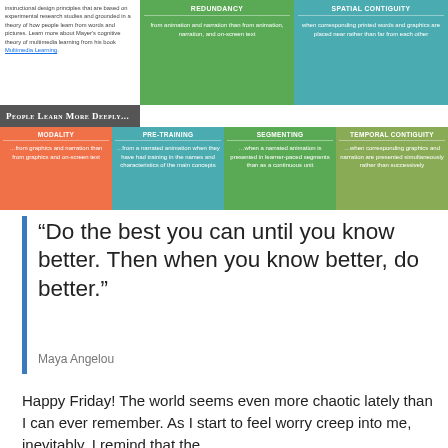[Figure (infographic): Mayer's multimedia learning principles grid showing colored cells: Redundancy (green), Spatial Contiguity (teal), People Learn More Deeply banner, Modality (orange), Pre-Training (teal), Segmenting (green), Temporal Contiguity (olive)]
“Do the best you can until you know better. Then when you know better, do better.”
Maya Angelou
Happy Friday! The world seems even more chaotic lately than I can ever remember. As I start to feel worry creep into me, inevitably, I remind that the...